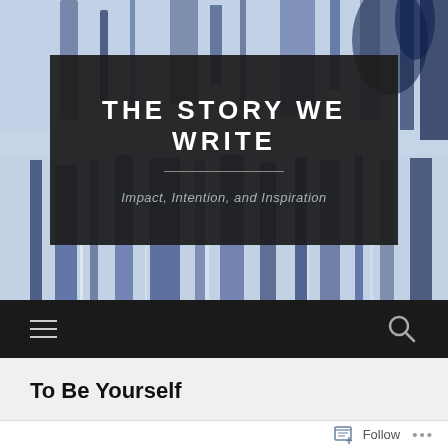[Figure (illustration): Abstract painted background with blue, dark blue, and white vertical streaks resembling a watercolor or acrylic painting on canvas]
THE STORY WE WRITE
Impact, Intention, and Inspiration
[Figure (infographic): Dark navigation bar with a hamburger menu icon (three horizontal lines) on the left and a magnifying glass search icon on the right]
To Be Yourself
Follow